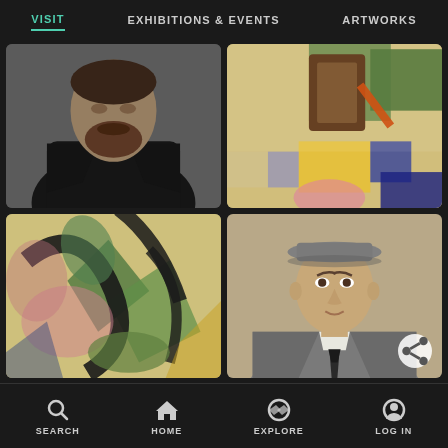VISIT | EXHIBITIONS & EVENTS | ARTWORKS
[Figure (photo): Dark painted portrait of a bearded man in a dark jacket against a grey background]
[Figure (photo): Abstract colorful painting with browns, yellows, greens and blues, overhead view of objects]
[Figure (photo): Colorful abstract cubist style painting with pinks, greens, blacks and yellows]
[Figure (photo): Portrait of a young man in a grey suit and hat with dark tie against a neutral background]
SEARCH  HOME  EXPLORE  LOG IN